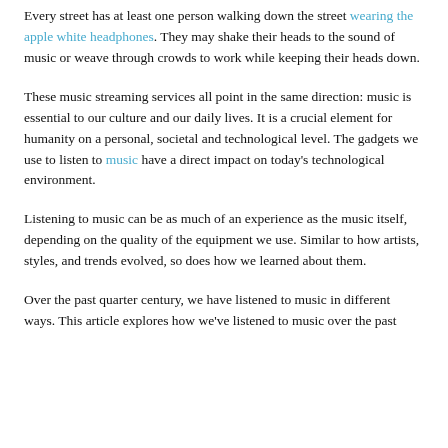Every street has at least one person walking down the street wearing the apple white headphones. They may shake their heads to the sound of music or weave through crowds to work while keeping their heads down.
These music streaming services all point in the same direction: music is essential to our culture and our daily lives. It is a crucial element for humanity on a personal, societal and technological level. The gadgets we use to listen to music have a direct impact on today's technological environment.
Listening to music can be as much of an experience as the music itself, depending on the quality of the equipment we use. Similar to how artists, styles, and trends evolved, so does how we learned about them.
Over the past quarter century, we have listened to music in different ways. This article explores how we've listened to music over the past